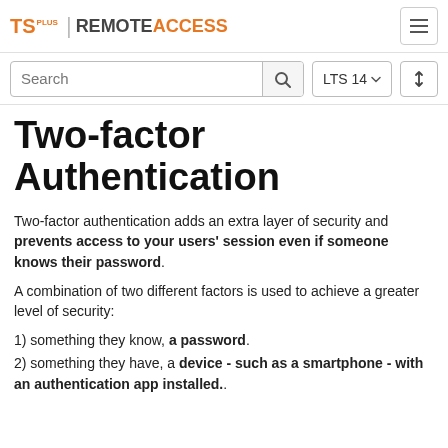TS PLUS | REMOTE ACCESS
Two-factor Authentication
Two-factor authentication adds an extra layer of security and prevents access to your users' session even if someone knows their password.
A combination of two different factors is used to achieve a greater level of security:
1) something they know, a password.
2) something they have, a device - such as a smartphone - with an authentication app installed..